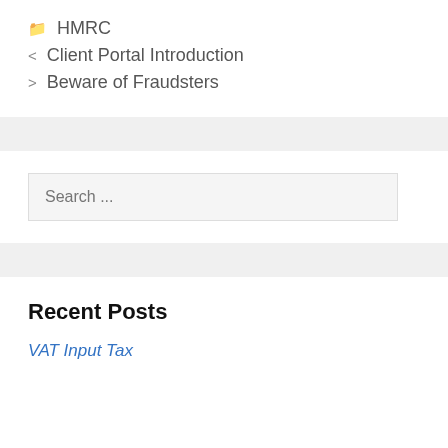📁 HMRC
< Client Portal Introduction
> Beware of Fraudsters
Search ...
Recent Posts
VAT Input Tax